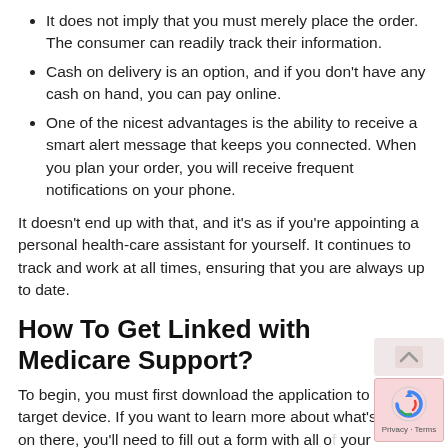It does not imply that you must merely place the order. The consumer can readily track their information.
Cash on delivery is an option, and if you don't have any cash on hand, you can pay online.
One of the nicest advantages is the ability to receive a smart alert message that keeps you connected. When you plan your order, you will receive frequent notifications on your phone.
It doesn't end up with that, and it's as if you're appointing a personal health-care assistant for yourself. It continues to track and work at all times, ensuring that you are always up to date.
How To Get Linked with Medicare Support?
To begin, you must first download the application to your target device. If you want to learn more about what's going on there, you'll need to fill out a form with all of your information. Here are a few of the primary reasons